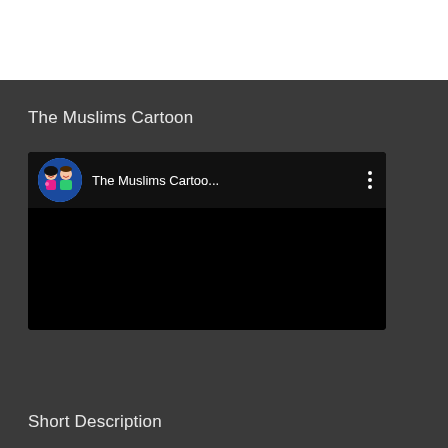The Muslims Cartoon
[Figure (screenshot): YouTube channel card showing 'The Muslims Cartoo...' with a cartoon avatar of two children and a three-dot menu icon, on a black background]
Short Description